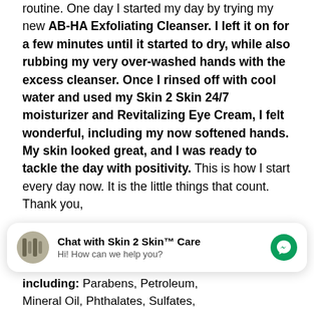routine. One day I started my day by trying my new AB-HA Exfoliating Cleanser. I left it on for a few minutes until it started to dry, while also rubbing my very over-washed hands with the excess cleanser. Once I rinsed off with cool water and used my Skin 2 Skin 24/7 moisturizer and Revitalizing Eye Cream, I felt wonderful, including my now softened hands. My skin looked great, and I was ready to tackle the day with positivity. This is how I start every day now. It is the little things that count. Thank you,
[Figure (screenshot): Chat widget: 'Chat with Skin 2 Skin™ Care' with avatar, subtitle 'Hi! How can we help you?' and green Messenger icon]
including: Parabens, Petroleum, Mineral Oil, Phthalates, Sulfates,